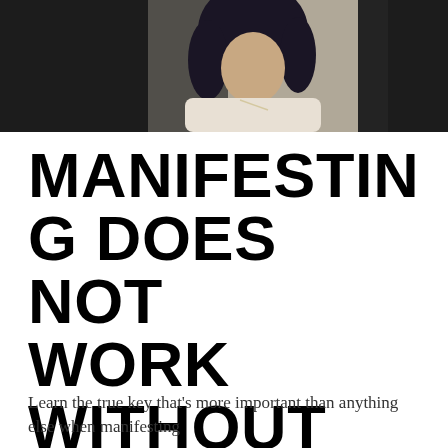[Figure (photo): A person with dark curly hair wearing a light-colored top, photographed from the shoulders up against a dark background. The image is cropped at the top of the page.]
MANIFESTING DOES NOT WORK WITHOUT THIS ONE THING
Learn the true key that's more important than anything else when manifesting